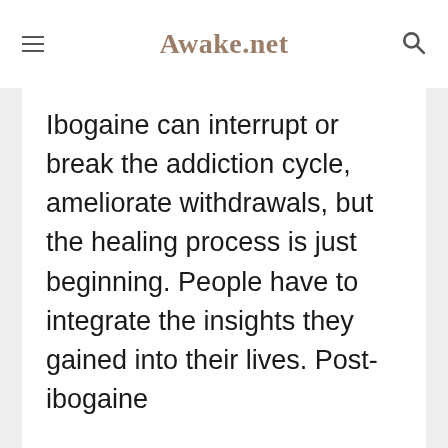Awake.net
Ibogaine can interrupt or break the addiction cycle, ameliorate withdrawals, but the healing process is just beginning. People have to integrate the insights they gained into their lives. Post-ibogaine